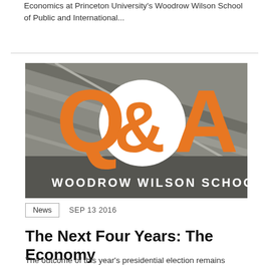Economics at Princeton University's Woodrow Wilson School of Public and International...
[Figure (logo): Q&A Woodrow Wilson School logo on architectural background — large orange Q&A letters with a white circle behind the ampersand, text WOODROW WILSON SCHOOL in white below]
News  SEP 13 2016
The Next Four Years: The Economy
The outcome of this year's presidential election remains